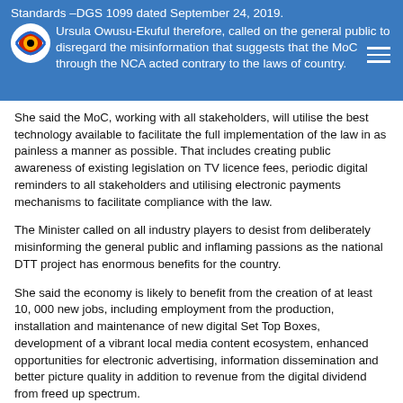Standards –DGS 1099 dated September 24, 2019. Ursula Owusu-Ekuful therefore, called on the general public to disregard the misinformation that suggests that the MoC through the NCA acted contrary to the laws of country.
She said the MoC, working with all stakeholders, will utilise the best technology available to facilitate the full implementation of the law in as painless a manner as possible. That includes creating public awareness of existing legislation on TV licence fees, periodic digital reminders to all stakeholders and utilising electronic payments mechanisms to facilitate compliance with the law.
The Minister called on all industry players to desist from deliberately misinforming the general public and inflaming passions as the national DTT project has enormous benefits for the country.
She said the economy is likely to benefit from the creation of at least 10, 000 new jobs, including employment from the production, installation and maintenance of new digital Set Top Boxes, development of a vibrant local media content ecosystem, enhanced opportunities for electronic advertising, information dissemination and better picture quality in addition to revenue from the digital dividend from freed up spectrum.